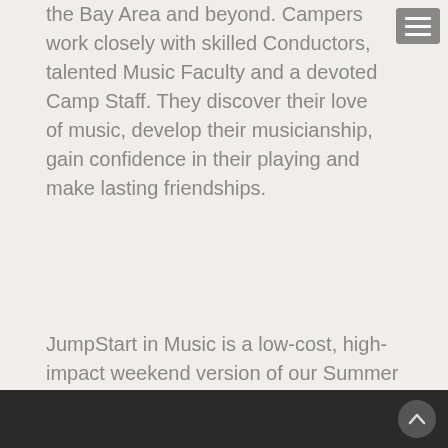the Bay Area and beyond. Campers work closely with skilled Conductors, talented Music Faculty and a devoted Camp Staff. They discover their love of music, develop their musicianship, gain confidence in their playing and make lasting friendships.
JumpStart in Music is a low-cost, high-impact weekend version of our Summer Music Camp for school and school district music programs. JumpStart brings Bay Area public school students, their music teachers and high school mentors together for a three day, condensed immersion program which produces some remarkable results.